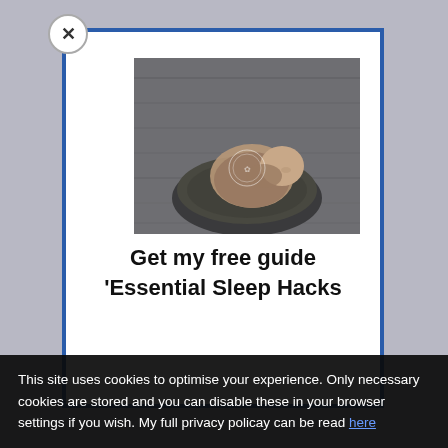[Figure (photo): Black and white photo of a sleeping newborn baby curled up in a round basket/bowl on a wooden floor surface. The baby is wearing a knit wrap. There is a small watermark/logo in the center of the image.]
Get my free guide 'Essential Sleep Hacks
This site uses cookies to optimise your experience. Only necessary cookies are stored and you can disable these in your browser settings if you wish. My full privacy policay can be read here.